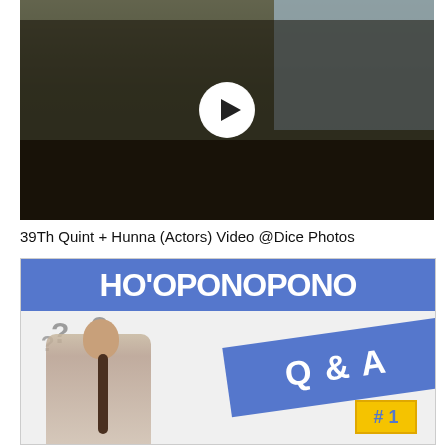[Figure (photo): Group photo of several men outdoors with trees in background, with a circular play button overlay in the center, video thumbnail style]
39Th Quint + Hunna (Actors) Video @Dice Photos
[Figure (photo): Thumbnail image with blue banner text 'HO'OPONOPONO' at top, a woman with braided hair thinking with question marks above her head on the left, and a blue diagonal banner with 'Q & A' and a yellow badge '#1' at bottom right]